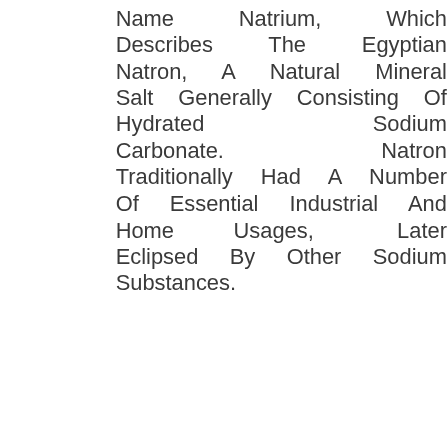Name Natrium, Which Describes The Egyptian Natron, A Natural Mineral Salt Generally Consisting Of Hydrated Sodium Carbonate. Natron Traditionally Had A Number Of Essential Industrial And Home Usages, Later Eclipsed By Other Sodium Substances.
Sodium Imparts An Extreme Yellow Color To Flames. As